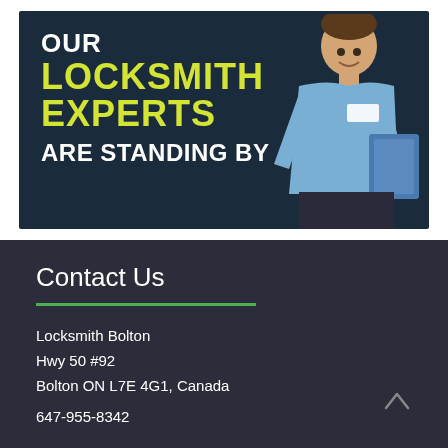[Figure (illustration): Locksmith promotional banner on dark navy background showing bold yellow text 'OUR LOCKSMITH EXPERTS' and white text 'ARE STANDING BY' with an image of a man in a blue uniform holding a clipboard on the right side.]
Contact Us
Locksmith Bolton
Hwy 50 #92
Bolton ON L7E 4G1, Canada
647-955-8342